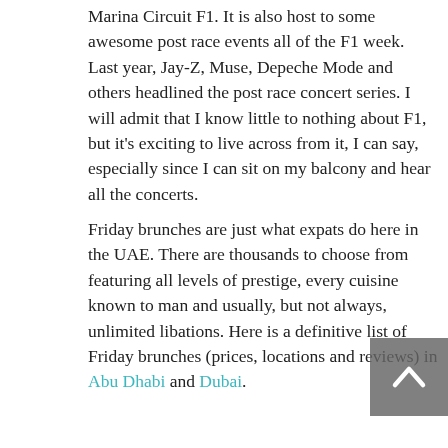Marina Circuit F1. It is also host to some awesome post race events all of the F1 week. Last year, Jay-Z, Muse, Depeche Mode and others headlined the post race concert series. I will admit that I know little to nothing about F1, but it's exciting to live across from it, I can say, especially since I can sit on my balcony and hear all the concerts.
Friday brunches are just what expats do here in the UAE. There are thousands to choose from featuring all levels of prestige, every cuisine known to man and usually, but not always, unlimited libations. Here is a definitive list of Friday brunches (prices, locations and reviews) in Abu Dhabi and Dubai.